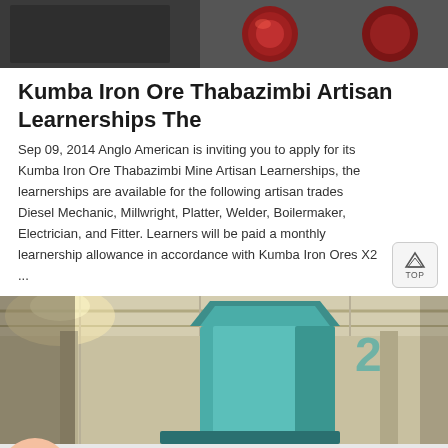[Figure (photo): Top partial image showing industrial equipment with dark/reddish tones, cropped at top of page]
Kumba Iron Ore Thabazimbi Artisan Learnerships The
Sep 09, 2014 Anglo American is inviting you to apply for its Kumba Iron Ore Thabazimbi Mine Artisan Learnerships, the learnerships are available for the following artisan trades Diesel Mechanic, Millwright, Platter, Welder, Boilermaker, Electrician, and Fitter. Learners will be paid a monthly learnership allowance in accordance with Kumba Iron Ores X2 ...
[Figure (photo): Industrial factory image showing a large teal/green cylindrical machine inside a warehouse with ceiling lights]
[Figure (other): Orange chat bar at bottom with Message and Online Chat buttons, and a customer service avatar on the left]